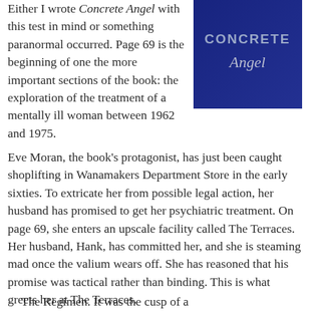[Figure (illustration): Book cover of 'Concrete Angel' showing dark blue background with the title CONCRETE in capital letters and 'Angel' in italic script below]
Either I wrote Concrete Angel with this test in mind or something paranormal occurred. Page 69 is the beginning of one the more important sections of the book: the exploration of the treatment of a mentally ill woman between 1962 and 1975.
Eve Moran, the book's protagonist, has just been caught shoplifting in Wanamakers Department Store in the early sixties. To extricate her from possible legal action, her husband has promised to get her psychiatric treatment. On page 69, she enters an upscale facility called The Terraces. Her husband, Hank, has committed her, and she is steaming mad once the valium wears off. She has reasoned that his promise was tactical rather than binding. This is what greets her at The Terraces.
The Regimen. It was the cusp of a